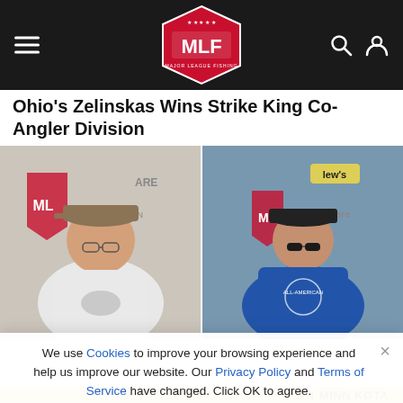MLF Major League Fishing navigation header
Ohio's Zelinskas Wins Strike King Co-Angler Division
[Figure (photo): Two side-by-side photos of anglers posing in front of MLF sponsor banners. Left: man in white t-shirt wearing cap and glasses. Right: man in blue shirt wearing sunglasses and cap.]
We use Cookies to improve your browsing experience and help us improve our website. Our Privacy Policy and Terms of Service have changed. Click OK to agree.
[Figure (logo): Minn Kota advertisement banner with yellow background and Minn Kota logo text.]